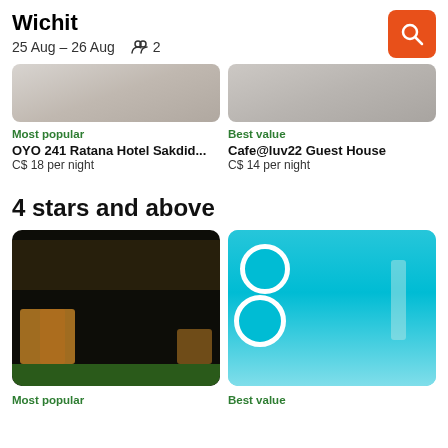Wichit
25 Aug – 26 Aug  2
[Figure (photo): Partial hotel card image top left, greyed out at top]
[Figure (photo): Partial hotel card image top right, greyed out at top]
Most popular
OYO 241 Ratana Hotel Sakdid...
C$ 18 per night
Best value
Cafe@luv22 Guest House
C$ 14 per night
4 stars and above
[Figure (photo): Night photo of a modern hotel building with illuminated facade and green lawn]
[Figure (photo): Aerial view of a pool with turquoise umbrellas and sun loungers]
Most popular
Best value